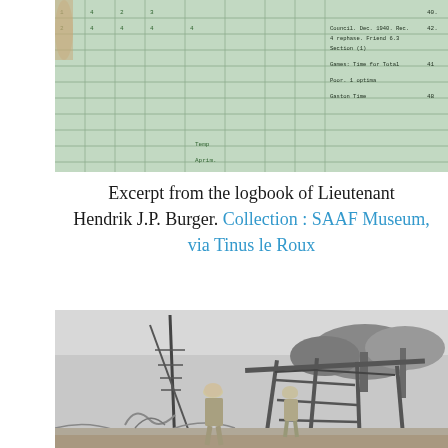[Figure (photo): Excerpt from the logbook of Lieutenant Hendrik J.P. Burger — a historical handwritten logbook with lined pages and columns, tinted green/blue]
Excerpt from the logbook of Lieutenant Hendrik J.P. Burger. Collection : SAAF Museum, via Tinus le Roux
[Figure (photo): Black and white historical photograph showing two soldiers in pith helmets walking past the wreckage of a destroyed aircraft frame in an arid, bush landscape]